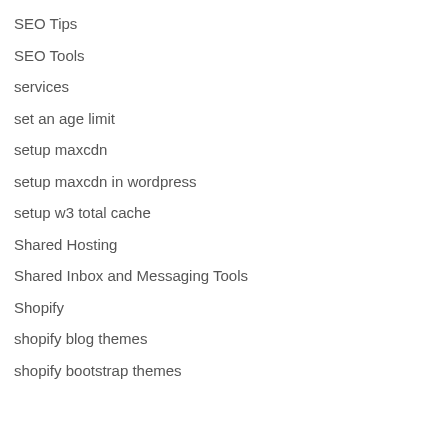SEO Tips
SEO Tools
services
set an age limit
setup maxcdn
setup maxcdn in wordpress
setup w3 total cache
Shared Hosting
Shared Inbox and Messaging Tools
Shopify
shopify blog themes
shopify bootstrap themes